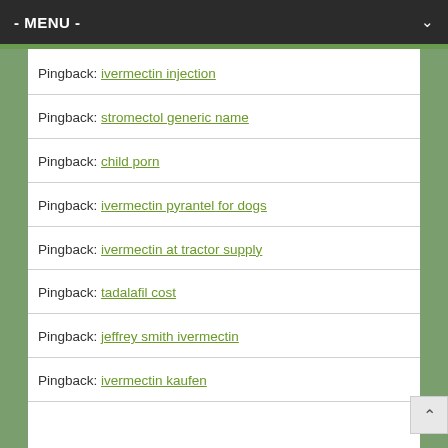- MENU -
Pingback: ivermectin injection
Pingback: stromectol generic name
Pingback: child porn
Pingback: ivermectin pyrantel for dogs
Pingback: ivermectin at tractor supply
Pingback: tadalafil cost
Pingback: jeffrey smith ivermectin
Pingback: ivermectin kaufen